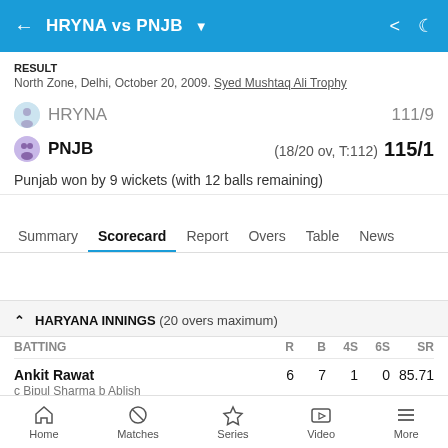HRYNA vs PNJB
RESULT
North Zone, Delhi, October 20, 2009. Syed Mushtaq Ali Trophy
HRYNA 111/9
PNJB (18/20 ov, T:112) 115/1
Punjab won by 9 wickets (with 12 balls remaining)
Summary | Scorecard | Report | Overs | Table | News
▲ HARYANA INNINGS (20 overs maximum)
| BATTING | R | B | 4s | 6s | SR |
| --- | --- | --- | --- | --- | --- |
| Ankit Rawat
c Bipul Sharma b Ablish | 6 | 7 | 1 | 0 | 85.71 |
Home | Matches | Series | Video | More